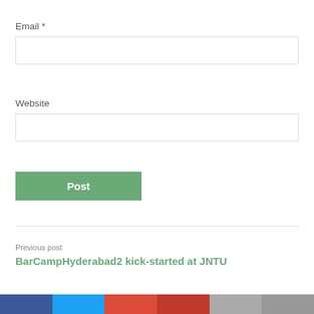Email *
[Figure (screenshot): Email input text field (empty, bordered box)]
Website
[Figure (screenshot): Website input text field (empty, bordered box)]
[Figure (screenshot): Green 'Post' button]
Previous post
BarCampHyderabad2 kick-started at JNTU
[Figure (screenshot): Social media sharing bar with colored blocks: Facebook (dark blue), Twitter (light blue), Google+ or Pinterest (red/orange), another red, gray]